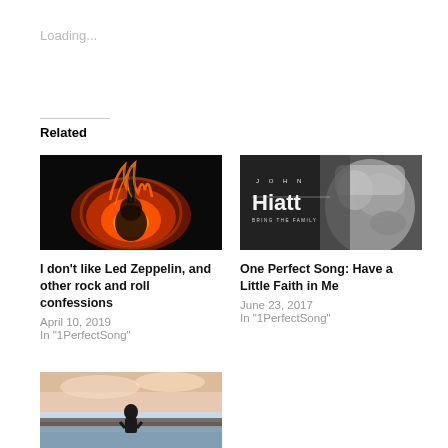Loading...
Related
[Figure (photo): Flaming guitar on dark background, album art style image]
I don't like Led Zeppelin, and other rock and roll confessions
April 10, 2019
In "1PerfectSong"
[Figure (photo): Black and white close-up photo of John Hiatt with text overlay reading 'John Hiatt']
One Perfect Song: Have a Little Faith in Me
June 23, 2017
In "1PerfectSong"
[Figure (photo): Person silhouetted against a pastel sky near water, partially visible at bottom]